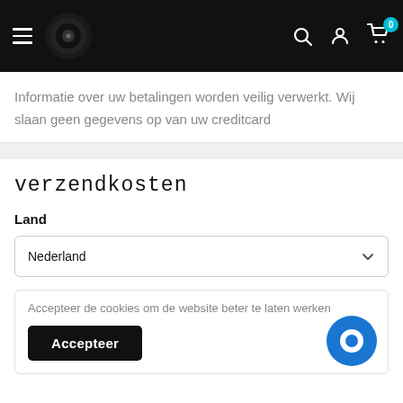[Figure (screenshot): Website header with hamburger menu icon, speaker/subwoofer logo image, and icons for search, user account, and shopping cart (with badge showing 0) on a black background]
Informatie over uw betalingen worden veilig verwerkt. Wij slaan geen gegevens op van uw creditcard
verzendkosten
Land
Nederland
Accepteer de cookies om de website beter te laten werken
Accepteer